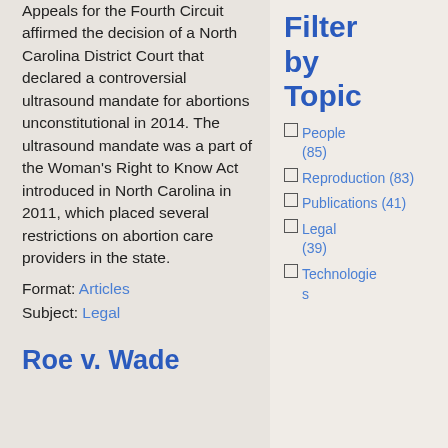Appeals for the Fourth Circuit affirmed the decision of a North Carolina District Court that declared a controversial ultrasound mandate for abortions unconstitutional in 2014. The ultrasound mandate was a part of the Woman's Right to Know Act introduced in North Carolina in 2011, which placed several restrictions on abortion care providers in the state.
Format: Articles
Subject: Legal
Roe v. Wade
Filter by Topic
People (85)
Reproduction (83)
Publications (41)
Legal (39)
Technologies